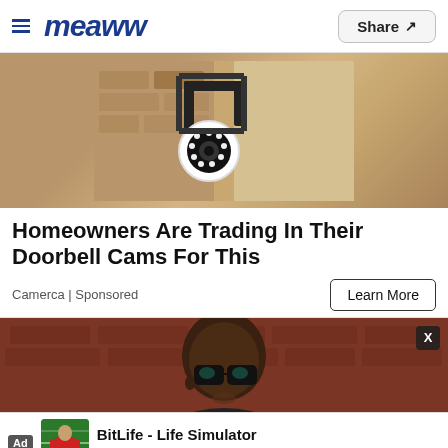meaww | Share
[Figure (photo): Close-up of a white outdoor security camera mounted on a black bracket against a stone/brick wall]
Homeowners Are Trading In Their Doorbell Cams For This
Camerca | Sponsored
Learn More
[Figure (photo): A man wearing large black-framed glasses against a brick wall background, with an overlaid ad for BitLife - Life Simulator by Candywriter, LLC]